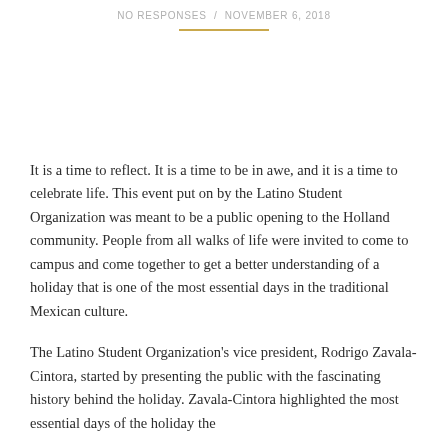NO RESPONSES / NOVEMBER 6, 2018
It is a time to reflect. It is a time to be in awe, and it is a time to celebrate life. This event put on by the Latino Student Organization was meant to be a public opening to the Holland community. People from all walks of life were invited to come to campus and come together to get a better understanding of a holiday that is one of the most essential days in the traditional Mexican culture.
The Latino Student Organization's vice president, Rodrigo Zavala-Cintora, started by presenting the public with the fascinating history behind the holiday. Zavala-Cintora highlighted the most essential days of the holiday the…